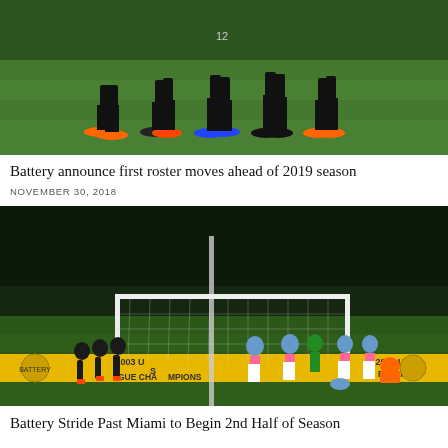[Figure (photo): Soccer players in black uniforms standing together on a green field, viewed from behind at knee level, wearing colorful cleats.]
Battery announce first roster moves ahead of 2019 season
NOVEMBER 30, 2018
[Figure (photo): Night soccer match showing players near a goal. Players in black uniforms celebrate while opposing players in light blue and white stand near the goal. A yellow advertising banner reads '2003 US League Champions' and '2010 US Division'.]
Battery Stride Past Miami to Begin 2nd Half of Season